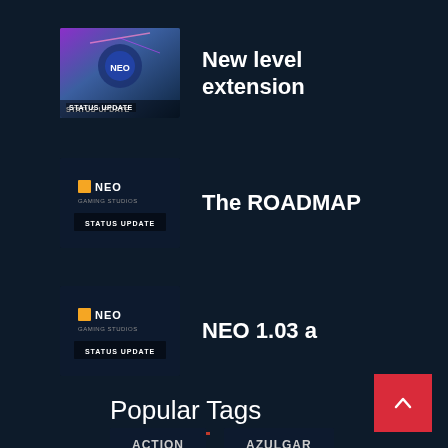New level extension
The ROADMAP
NEO 1.03 a
Popular Tags
ACTION
AZULGAR
CYBERSHIFT
GAMES